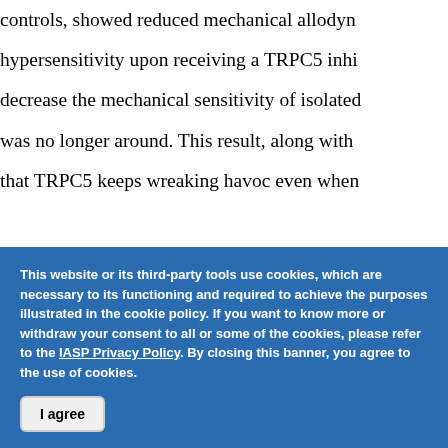controls, showed reduced mechanical allodynia / hypersensitivity upon receiving a TRPC5 inhibitor / decrease the mechanical sensitivity of isolated / was no longer around. This result, along with / that TRPC5 keeps wreaking havoc even when
Taking it into people
Pain researchers increasingly recognize that ex / understand whether what holds true in the pain / believers in that approach, the authors were ab / by collaborating with Ted Price, University of
This website or its third-party tools use cookies, which are necessary to its functioning and required to achieve the purposes illustrated in the cookie policy. If you want to know more or withdraw your consent to all or some of the cookies, please refer to the IASP Privacy Policy. By closing this banner, you agree to the use of cookies.